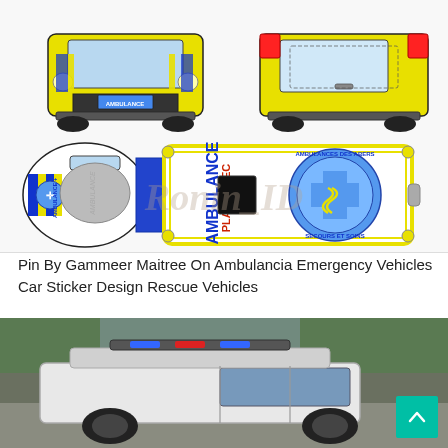[Figure (illustration): Technical top/front/rear view diagram of a yellow AMBULANCE PLABENNEC (Ambulances des Abers) vehicle showing three orthographic views: front view (upper left), rear view (upper right), and top-down view (center/bottom). The top view shows the ambulance livery with blue/yellow chevrons, 'AMBULANCE PLABENNEC' text in blue, the Star of Life symbol, and 'AMBULANCES DES ABERS SECOURS ET SOINS' text. A semi-transparent watermark 'Ronin_ID' appears over the image.]
Pin By Gammeer Maitree On Ambulancia Emergency Vehicles Car Sticker Design Rescue Vehicles
[Figure (photo): Photograph of a white emergency/rescue vehicle (SUV) parked in an outdoor area with trees in the background. The vehicle has a light bar on the roof. A teal/green 'scroll to top' arrow button is overlaid in the bottom-right corner.]